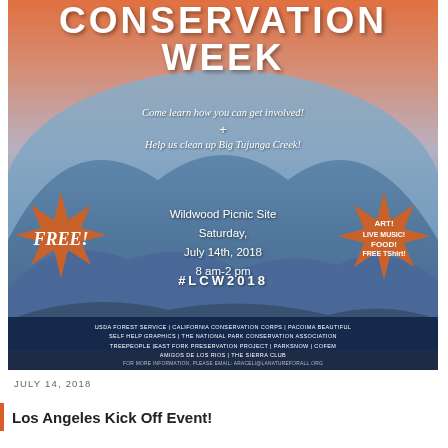[Figure (infographic): Conservation Week event flyer with mountain sunset background, star badge shapes, event details for Wildwood Picnic Site, July 14th 2018, 8am-2pm, sponsor logos at bottom]
JULY 14, 2018
Los Angeles Kick Off Event!